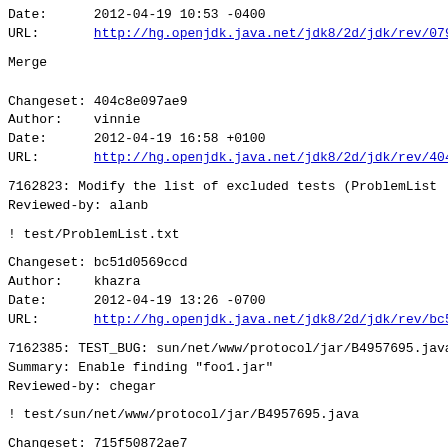Date:      2012-04-19 10:53 -0400
URL:       http://hg.openjdk.java.net/jdk8/2d/jdk/rev/079
Merge
Changeset: 404c8e097ae9
Author:    vinnie
Date:      2012-04-19 16:58 +0100
URL:       http://hg.openjdk.java.net/jdk8/2d/jdk/rev/404
7162823: Modify the list of excluded tests (ProblemList
Reviewed-by: alanb
! test/ProblemList.txt
Changeset: bc51d0569ccd
Author:    khazra
Date:      2012-04-19 13:26 -0700
URL:       http://hg.openjdk.java.net/jdk8/2d/jdk/rev/bc5
7162385: TEST_BUG: sun/net/www/protocol/jar/B4957695.java
Summary: Enable finding "foo1.jar"
Reviewed-by: chegar
! test/sun/net/www/protocol/jar/B4957695.java
Changeset: 715f50872ae7
Author:    khazra
Date:      2012-04-19 18:11 -0700